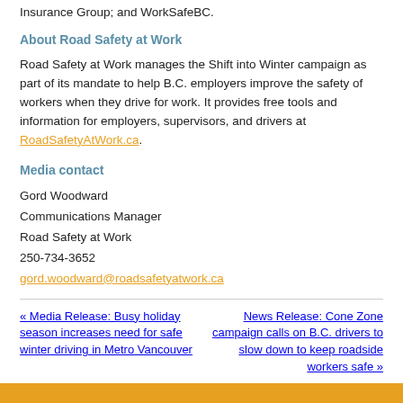Insurance Group; and WorkSafeBC.
About Road Safety at Work
Road Safety at Work manages the Shift into Winter campaign as part of its mandate to help B.C. employers improve the safety of workers when they drive for work. It provides free tools and information for employers, supervisors, and drivers at RoadSafetyAtWork.ca.
Media contact
Gord Woodward
Communications Manager
Road Safety at Work
250-734-3652
gord.woodward@roadsafetyatwork.ca
« Media Release: Busy holiday season increases need for safe winter driving in Metro Vancouver
News Release: Cone Zone campaign calls on B.C. drivers to slow down to keep roadside workers safe »